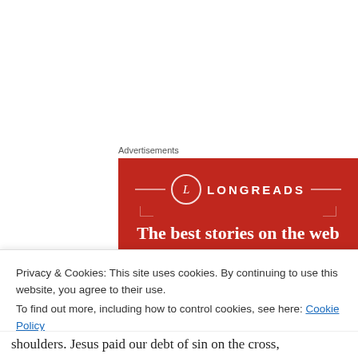Advertisements
[Figure (illustration): Longreads advertisement banner with red background. Shows circular logo with 'L', brand name 'LONGREADS', tagline 'The best stories on the web – ours, and everyone else's.' and a black 'Start reading' button.]
Privacy & Cookies: This site uses cookies. By continuing to use this website, you agree to their use.
To find out more, including how to control cookies, see here: Cookie Policy
Close and accept
shoulders. Jesus paid our debt of sin on the cross,